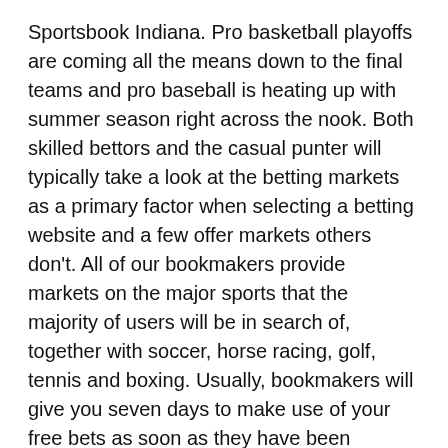Sportsbook Indiana. Pro basketball playoffs are coming all the means down to the final teams and pro baseball is heating up with summer season right across the nook. Both skilled bettors and the casual punter will typically take a look at the betting markets as a primary factor when selecting a betting website and a few offer markets others don't. All of our bookmakers provide markets on the major sports that the majority of users will be in search of, together with soccer, horse racing, golf, tennis and boxing. Usually, bookmakers will give you seven days to make use of your free bets as soon as they have been awarded to your account, however this can differ with some bookies.
With that large user base, the corporate was primed to leap into the sports activities betting scene when the Professional and Amateur Sports Protection Act was overturned by the us Supreme Court in 2018, permitting individual states to legalize and common sports activities betting. DraftKings has